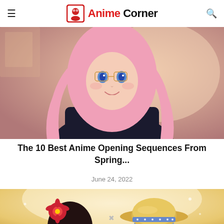Anime Corner
[Figure (illustration): Anime girl with long pink hair and blue eyes in dark school uniform, resting chin on hand, smiling. Warm peach/orange toned background.]
The 10 Best Anime Opening Sequences From Spring...
June 24, 2022
[Figure (illustration): Two anime characters shown from behind wearing summer hats — one with red/black hair wearing a red flower accessory, one with a straw hat with blue ribbon. Warm glowing background.]